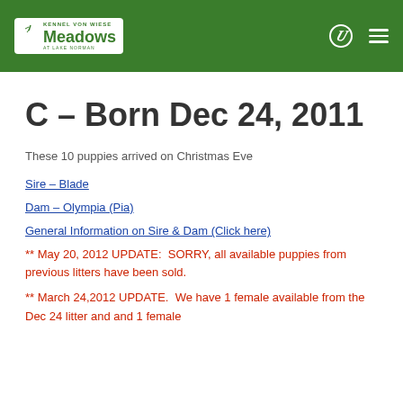Kennel Von Wiese Meadows at Lake Norman
C – Born Dec 24, 2011
These 10 puppies arrived on Christmas Eve
Sire – Blade
Dam – Olympia (Pia)
General Information on Sire & Dam (Click here)
** May 20, 2012 UPDATE:  SORRY, all available puppies from previous litters have been sold.
** March 24,2012 UPDATE.  We have 1 female available from the Dec 24 litter and and 1 female